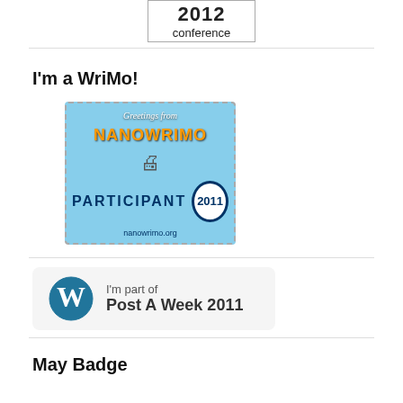[Figure (illustration): 2012 conference badge with penguin graphic]
I'm a WriMo!
[Figure (illustration): NaNoWriMo 2011 Participant badge - Greetings from NaNoWriMo, nanowrimo.org]
[Figure (illustration): WordPress Post A Week 2011 badge with WordPress logo]
May Badge
[Figure (illustration): May Badge colorful gear/cog wheel illustration]